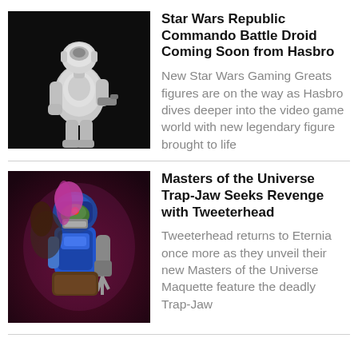[Figure (photo): A white Republic Commando Battle Droid action figure posed against a black background]
Star Wars Republic Commando Battle Droid Coming Soon from Hasbro
New Star Wars Gaming Greats figures are on the way as Hasbro dives deeper into the video game world with new legendary figure brought to life
[Figure (photo): Masters of the Universe Trap-Jaw maquette figure against a dramatic dark red/purple background]
Masters of the Universe Trap-Jaw Seeks Revenge with Tweeterhead
Tweeterhead returns to Eternia once more as they unveil their new Masters of the Universe Maquette feature the deadly Trap-Jaw